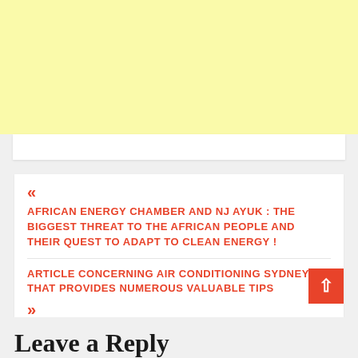[Figure (other): Yellow advertisement banner placeholder]
« AFRICAN ENERGY CHAMBER AND NJ AYUK : THE BIGGEST THREAT TO THE AFRICAN PEOPLE AND THEIR QUEST TO ADAPT TO CLEAN ENERGY !
ARTICLE CONCERNING AIR CONDITIONING SYDNEY THAT PROVIDES NUMEROUS VALUABLE TIPS »
Leave a Reply